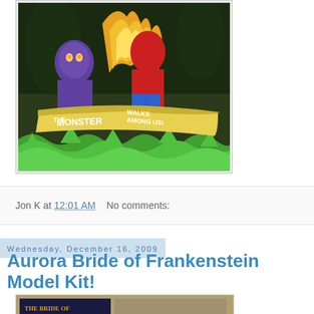[Figure (illustration): Comic book cover showing monster figures with text 'THE MONSTER WALKS AMONG US!' in bold lettering, colorful artwork with green waves at bottom]
Jon K at 12:01 AM   No comments:
Wednesday, December 16, 2009
Aurora Bride of Frankenstein Model Kit!
[Figure (photo): Partial view of the Aurora Bride of Frankenstein model kit box]